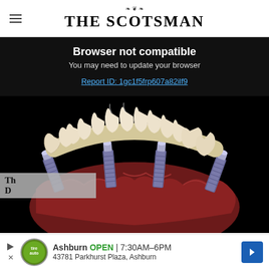THE SCOTSMAN
Browser not compatible
You may need to update your browser
Report ID: 1gc1f5frp607a82ilf9
[Figure (illustration): 3D dental implant illustration showing four titanium dental implants in gum tissue with a row of ceramic teeth/crowns above, on black background]
Th
D
Ashburn  OPEN | 7:30AM–6PM  43781 Parkhurst Plaza, Ashburn